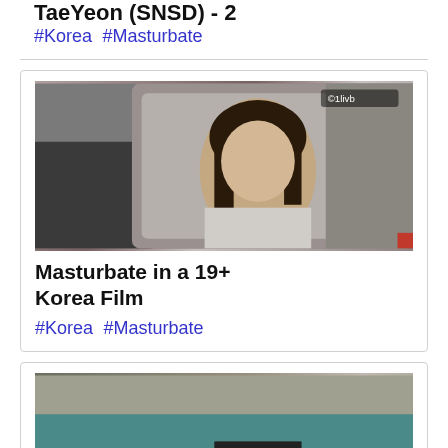TaeYeon (SNSD) - 2
#Korea #Masturbate
[Figure (photo): Video thumbnail showing a woman in a car interior scene]
Masturbate in a 19+ Korea Film
#Korea #Masturbate
[Figure (photo): Video thumbnail showing a person lying down]
Korean BJ Dasom 4 (다솜)
#Korea #masturbate